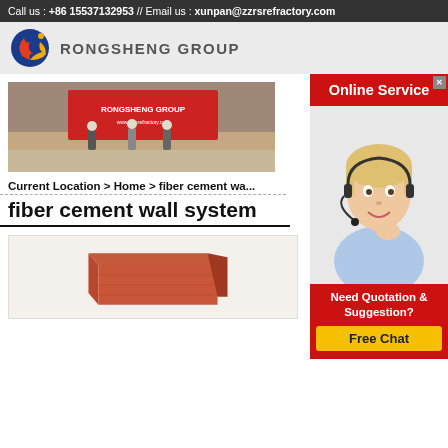Call us : +86 15537132953 // Email us : xunpan@zzrsrefractory.com
[Figure (logo): Rongsheng Group logo: blue and red flame globe]
RONGSHENG GROUP
[Figure (photo): Rongsheng Group company exhibition booth photo with banner]
[Figure (photo): Online service widget with customer service agent wearing headset. Red header saying Online Service, red footer saying Need Quotation & Suggestion?, yellow Free Chat button.]
Current Location > Home > fiber cement wa...
fiber cement wall system
[Figure (photo): Red/terracotta colored rectangular brick product photo on light background]